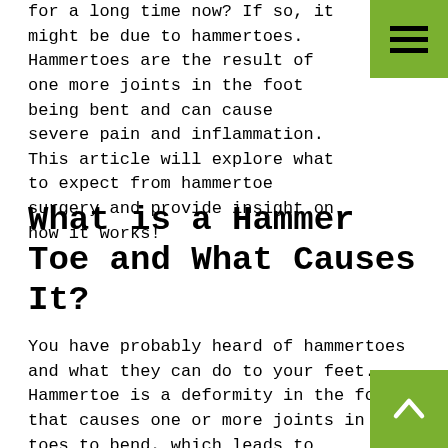for a long time now? If so, it might be due to hammertoes. Hammertoes are the result of one more joints in the foot being bent and can cause severe pain and inflammation. This article will explore what to expect from hammertoe surgery and provide insight on how it works!
What is a Hammer Toe and What Causes It?
You have probably heard of hammertoes and what they can do to your feet. Hammertoe is a deformity in the foot that causes one or more joints in the toes to bend, which leads to inflammation and pain on top of pain at night due to rubbing against bedsheets upon restful sleep. The curvature occurs when pressure from shoes or other external factors causes